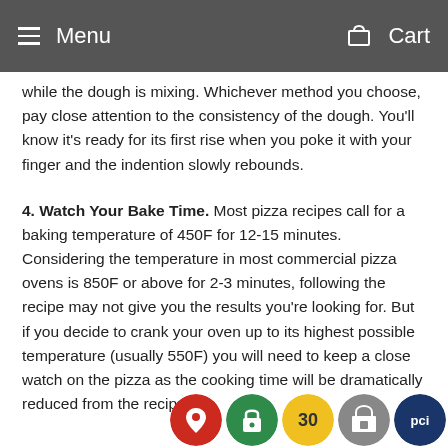Menu   Cart
while the dough is mixing. Whichever method you choose, pay close attention to the consistency of the dough. You'll know it's ready for its first rise when you poke it with your finger and the indention slowly rebounds.
4. Watch Your Bake Time. Most pizza recipes call for a baking temperature of 450F for 12-15 minutes. Considering the temperature in most commercial pizza ovens is 850F or above for 2-3 minutes, following the recipe may not give you the results you're looking for. But if you decide to crank your oven up to its highest possible temperature (usually 550F) you will need to keep a close watch on the pizza as the cooking time will be dramatically reduced from the recipe.
Here is our go-to pizza dough re... Check out Ladle & Blade for pizza...